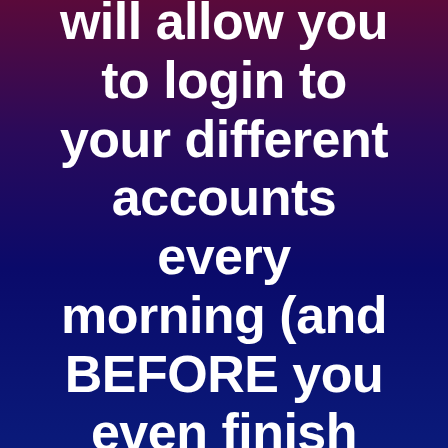will allow you to login to your different accounts every morning (and BEFORE you even finish your cup of